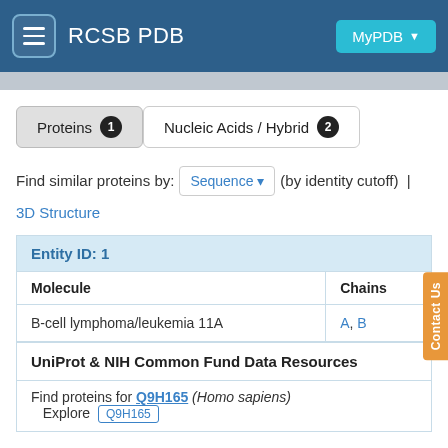RCSB PDB  MyPDB
Proteins 1  Nucleic Acids / Hybrid 2
Find similar proteins by: Sequence (by identity cutoff) | 3D Structure
| Entity ID: 1 |  |
| --- | --- |
| Molecule | Chains |
| B-cell lymphoma/leukemia 11A | A, B |
UniProt & NIH Common Fund Data Resources
Find proteins for Q9H165 (Homo sapiens)
Explore Q9H165